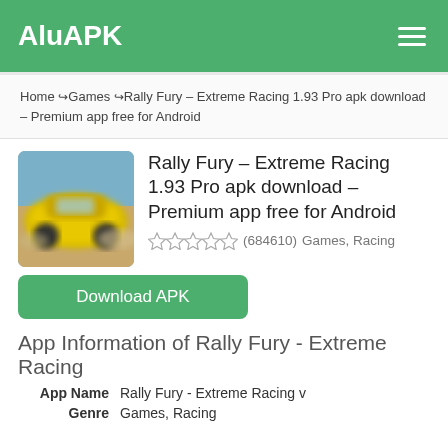AluAPK
Home → Games → Rally Fury – Extreme Racing 1.93 Pro apk download – Premium app free for Android
Rally Fury – Extreme Racing 1.93 Pro apk download – Premium app free for Android
(684610)  Games, Racing
Download APK
App Information of Rally Fury - Extreme Racing
| Field | Value |
| --- | --- |
| App Name | Rally Fury - Extreme Racing v |
| Genre | Games, Racing |